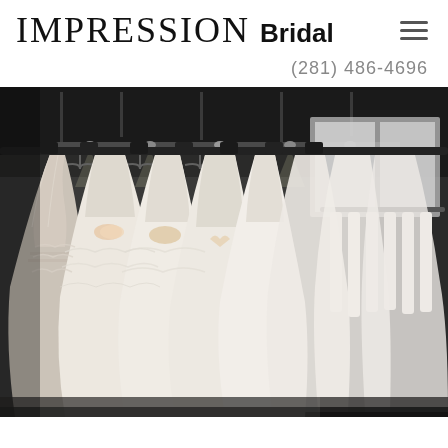IMPRESSION Bridal
(281) 486-4696
[Figure (photo): Interior of a bridal shop showroom with rows of white and ivory wedding dresses hanging on racks under track lighting, viewed from a low angle with heavily embellished ball gowns in the foreground.]